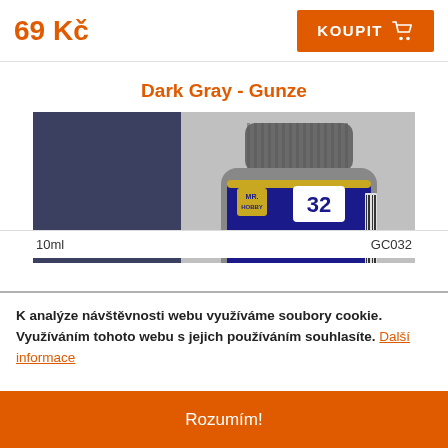69 Kč
KOUPIT
Dark Gray - Gunze
[Figure (photo): Dark gray color swatch on the left and a Mr. Color paint jar (number 32, Dark Gray) on the right]
10ml
GC032
K analýze návštěvnosti webu využíváme soubory cookie. Využíváním tohoto webu s jejich používáním souhlasíte. Další informace
Rozumím!